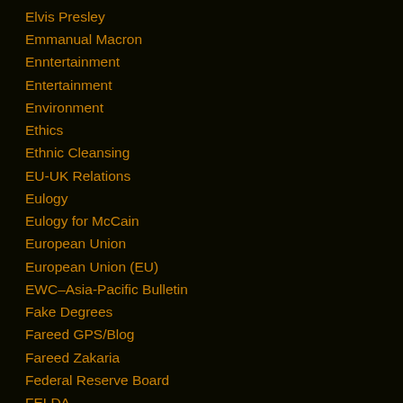Elvis Presley
Emmanual Macron
Enntertainment
Entertainment
Environment
Ethics
Ethnic Cleansing
EU-UK Relations
Eulogy
Eulogy for McCain
European Union
European Union (EU)
EWC–Asia-Pacific Bulletin
Fake Degrees
Fareed GPS/Blog
Fareed Zakaria
Federal Reserve Board
FELDA
Festival
Finance
Finance Minister L Guan Eng